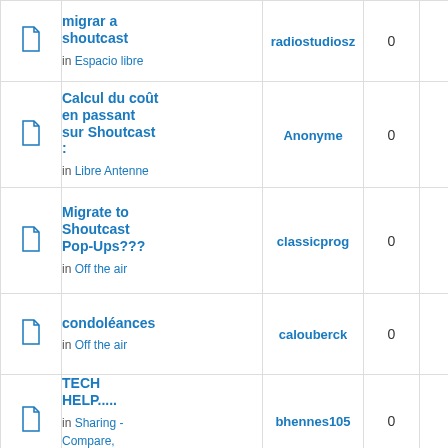|  |  | Topic | Author | Replies | Views |
| --- | --- | --- | --- | --- | --- |
|  |  | migrar a shoutcast
in Espacio libre | radiostudiosz | 0 | 6756 |
|  |  | Calcul du coût en passant sur Shoutcast :
in Libre Antenne | Anonyme | 0 | 7035 |
|  |  | Migrate to Shoutcast Pop-Ups???
in Off the air | classicprog | 0 | 7458 |
|  |  | condoléances
in Off the air | calouberck | 0 | 7406 |
|  |  | TECH HELP.....
in Sharing - Compare, exchange | bhennes105 | 0 | 8579 |